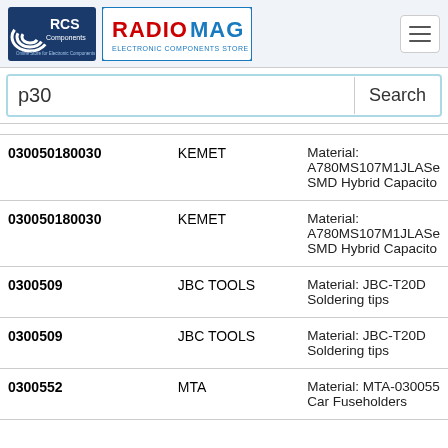[Figure (logo): RCS Components logo - blue/black with wifi symbol]
[Figure (logo): RADIOMAG Electronic Components Store logo - red and blue text on white background]
p30
Search
| Part Number | Brand | Description |
| --- | --- | --- |
| 030050180030 | KEMET | Material: A780MS107M1JLASe SMD Hybrid Capacito |
| 030050180030 | KEMET | Material: A780MS107M1JLASe SMD Hybrid Capacito |
| 0300509 | JBC TOOLS | Material: JBC-T20D Soldering tips |
| 0300509 | JBC TOOLS | Material: JBC-T20D Soldering tips |
| 0300552 | MTA | Material: MTA-030055 Car Fuseholders |